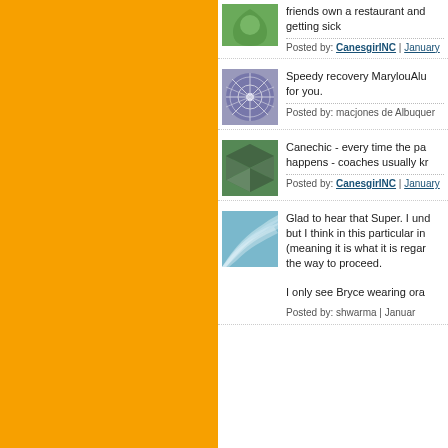[Figure (screenshot): Forum/comment thread page showing user avatars and post text on a website with an orange sidebar.]
friends own a restaurant and getting sick
Posted by: CanesgirINC | January
Speedy recovery MarylouAlu for you.
Posted by: macjones de Albuquer
Canechic - every time the pa happens - coaches usually kr
Posted by: CanesgirINC | January
Glad to hear that Super. I und but I think in this particular in (meaning it is what it is regar the way to proceed.
I only see Bryce wearing ora
Posted by: shwarma | Januar